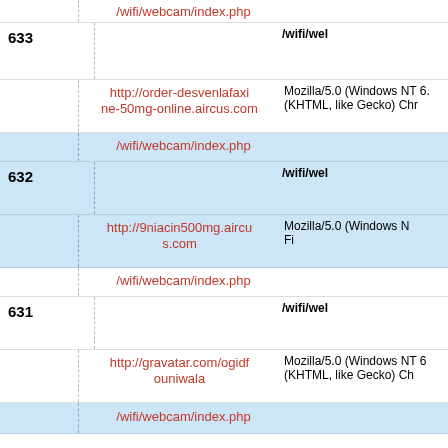| # | URL / Path | User Agent |
| --- | --- | --- |
|  | /wifi/webcam/index.php |  |
| 633 |  | /wifi/wel... |
|  | http://order-desvenlafaxine-50mg-online.aircus.com | Mozilla/5.0 (Windows NT 6... (KHTML, like Gecko) Chr... |
|  | /wifi/webcam/index.php |  |
| 632 |  | /wifi/wel... |
|  | http://9niacin500mg.aircus.com | Mozilla/5.0 (Windows N... Fi... |
|  | /wifi/webcam/index.php |  |
| 631 |  | /wifi/wel... |
|  | http://gravatar.com/ogidfouniwala | Mozilla/5.0 (Windows NT 6... (KHTML, like Gecko) Ch... |
|  | /wifi/webcam/index.php |  |